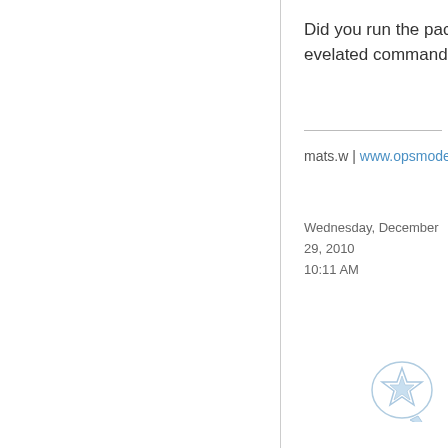Did you run the package from an evelated command prompt?
mats.w | www.opsmode.com
Wednesday, December 29, 2010
10:11 AM
[Figure (illustration): User avatar/badge icon - decorative star/award symbol in light blue]
mats.wigle   2,200 Points
[Figure (illustration): Comment/reply box icon - grey square with speech bubble chat icon]
▲
0
Sign in to vote